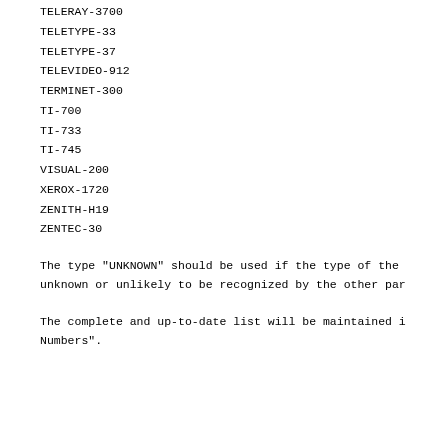TELERAY-3700
TELETYPE-33
TELETYPE-37
TELEVIDEO-912
TERMINET-300
TI-700
TI-733
TI-745
VISUAL-200
XEROX-1720
ZENITH-H19
ZENTEC-30
The type "UNKNOWN" should be used if the type of the unknown or unlikely to be recognized by the other par
The complete and up-to-date list will be maintained i Numbers".